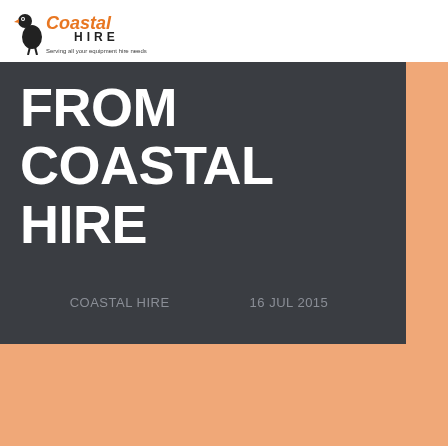[Figure (logo): Coastal Hire logo with ostrich bird icon, orange and black text, tagline 'Serving all your equipment hire needs']
FROM COASTAL HIRE
COASTAL HIRE   16 JUL 2015
Affordable Tools for Hire